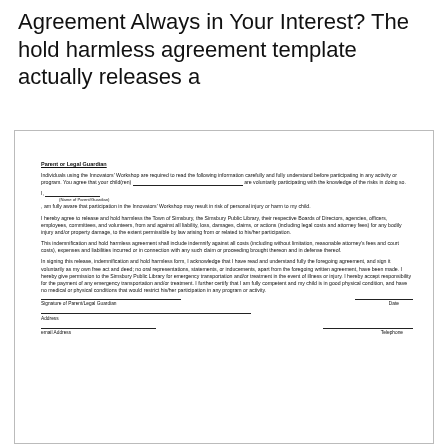Agreement Always in Your Interest? The hold harmless agreement template actually releases a
[Figure (screenshot): Scanned image of a Parent or Legal Guardian hold harmless agreement form for the Innovators' Workshop / Simsbury Public Library, containing body text paragraphs, signature lines for Parent/Legal Guardian and Date, Address, email Address, and Telephone fields.]
Parent or Legal Guardian
Individuals using the Innovators' Workshop are required to read the following information carefully and fully understand before participating in any activity or program. You agree that your child(ren) _________________________________ are voluntarily participating with the knowledge of the risks in doing so.
I, _________________________, am fully aware that participation in the Innovators' Workshop may result in risk of personal injury or harm to my child.
I hereby agree to release and hold harmless the Town of Simsbury, the Simsbury Public Library, their respective Boards of Directors, agencies, officers, employees, committees, and volunteers, from and against all liability, loss, damages, claims, or actions (including legal costs and attorney fees) for any bodily injury and/or property damage, to the extent permissible by law arising from or related to his/her participation.
This indemnification and hold harmless agreement shall include indemnify against all costs (including without limitation, reasonable attorney's fees and court costs), expenses and liabilities incurred or in connection with any such claim or proceeding brought thereon and in defense thereof.
In signing this release, indemnification and hold harmless form, I acknowledge that I have read and understand fully the foregoing agreement, and sign it voluntarily as my own free act and deed; no oral representations, statements, or inducements, apart from the foregoing written agreement, have been made. I hereby give permission to the Simsbury Public Library for emergency transportation and/or treatment in the event of illness or injury. I hereby accept responsibility for the payment of any emergency transportation and/or treatment. I further certify that I am fully competent and my child is in good physical condition, and have no medical or physical conditions that would restrict his/her participation in any program or activity.
Signature of Parent/Legal Guardian                                                Date
Address
email Address                                                                      Telephone